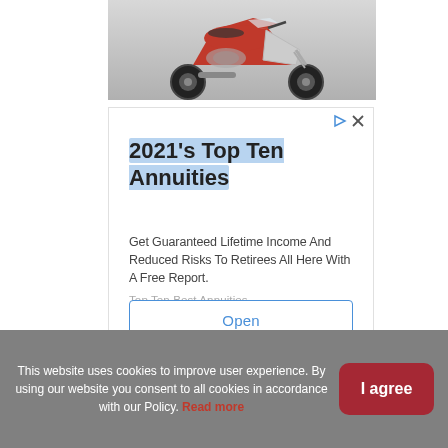[Figure (photo): Partial view of a red and silver sport motorcycle on a gray background, showing the front wheel, fairing and upper body.]
[Figure (screenshot): Advertisement box with ad icons (play triangle and X). Title: '2021's Top Ten Annuities' with highlight. Body text: 'Get Guaranteed Lifetime Income And Reduced Risks To Retirees All Here With A Free Report.' Source label: 'Top Ten Best Annuities'. Button: 'Open']
This website uses cookies to improve user experience. By using our website you consent to all cookies in accordance with our Policy. Read more
I agree